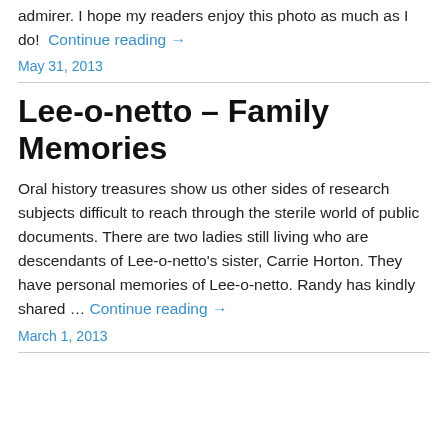admirer. I hope my readers enjoy this photo as much as I do! … Continue reading →
May 31, 2013
Lee-o-netto – Family Memories
Oral history treasures show us other sides of research subjects difficult to reach through the sterile world of public documents. There are two ladies still living who are descendants of Lee-o-netto's sister, Carrie Horton. They have personal memories of Lee-o-netto. Randy has kindly shared … Continue reading →
March 1, 2013